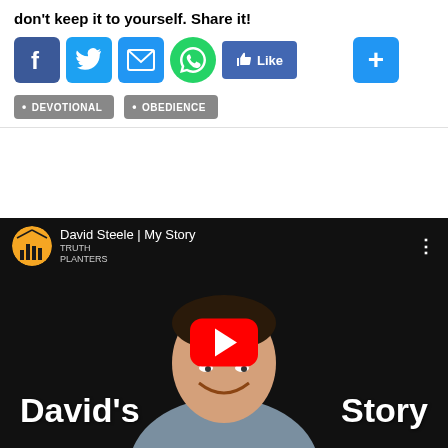don't keep it to yourself. Share it!
[Figure (infographic): Social sharing icons: Facebook (blue), Twitter (blue), Email (blue), WhatsApp (green), Like button (Facebook blue), and a blue plus button]
• DEVOTIONAL
• OBEDIENCE
[Figure (screenshot): YouTube video thumbnail for 'David Steele | My Story' by Truth Planters channel, showing a smiling man with text 'David's Story' and a YouTube play button overlay]